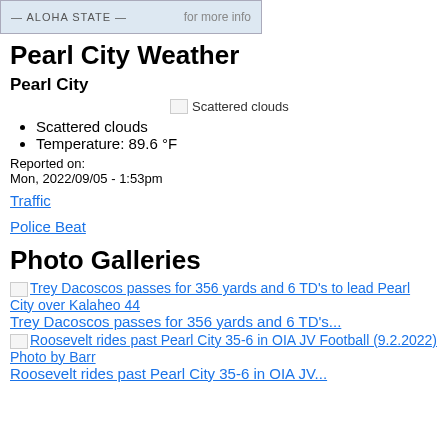[Figure (other): Banner image with Aloha State text and 'for more info' label]
Pearl City Weather
Pearl City
[Figure (other): Broken image placeholder labeled 'Scattered clouds']
Scattered clouds
Temperature: 89.6 °F
Reported on:
Mon, 2022/09/05 - 1:53pm
Traffic
Police Beat
Photo Galleries
[Figure (other): Broken image link: Trey Dacoscos passes for 356 yards and 6 TD's to lead Pearl City over Kalaheo 44]
Trey Dacoscos passes for 356 yards and 6 TD's...
[Figure (other): Broken image link: Roosevelt rides past Pearl City 35-6 in OIA JV Football (9.2.2022) Photo by Barr]
Roosevelt rides past Pearl City 35-6 in OIA JV...